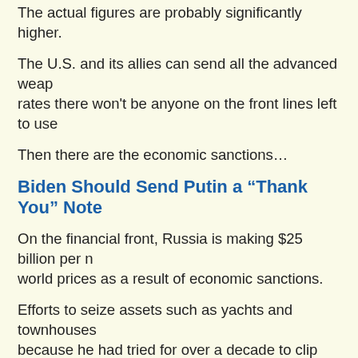The actual figures are probably significantly higher.
The U.S. and its allies can send all the advanced weap... rates there won't be anyone on the front lines left to use...
Then there are the economic sanctions…
Biden Should Send Putin a “Thank You” Note
On the financial front, Russia is making $25 billion per m... world prices as a result of economic sanctions.
Efforts to seize assets such as yachts and townhouses... because he had tried for over a decade to clip the oliga...
The fact is Putin despises the oligarchs. Putin’s base of... Orthodox Church. The U.S. and its allies are actually do...
Russia has also captured 55 million tons of coal in the D... leverage when it comes to sanctions related to oil and n...
Europe Has Few Options